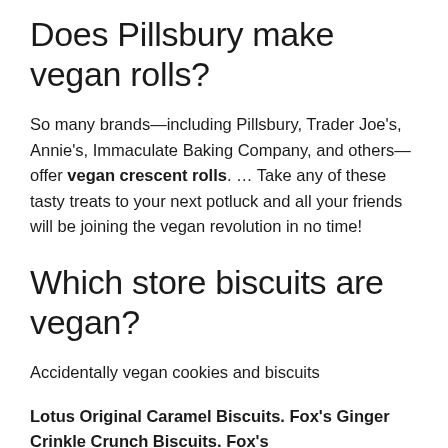Does Pillsbury make vegan rolls?
So many brands—including Pillsbury, Trader Joe's, Annie's, Immaculate Baking Company, and others—offer vegan crescent rolls. … Take any of these tasty treats to your next potluck and all your friends will be joining the vegan revolution in no time!
Which store biscuits are vegan?
Accidentally vegan cookies and biscuits
Lotus Original Caramel Biscuits. Fox's Ginger Crinkle Crunch Biscuits. Fox's